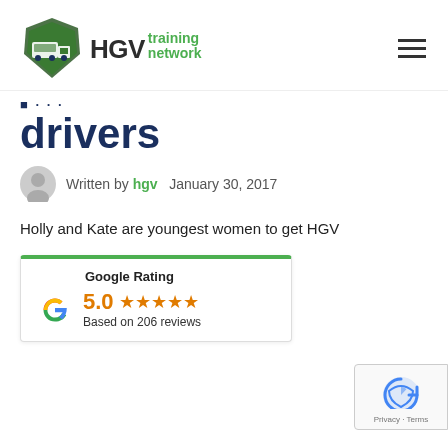HGV training network
drivers
Written by hgv   January 30, 2017
Holly and Kate are youngest women to get HGV
[Figure (infographic): Google Rating widget showing 5.0 stars based on 206 reviews, with Google G logo]